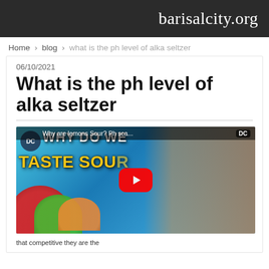barisalcity.org
Home › blog › what is the ph level of alka seltzer
06/10/2021
What is the ph level of alka seltzer
[Figure (screenshot): YouTube video thumbnail showing a man in a red shirt with text 'WHY DO WE TASTE SOUR' and overlay 'Why are lemons Sour? Ph sca...' with YouTube play button. Colorful candy visible on left side.]
that competitive they are the